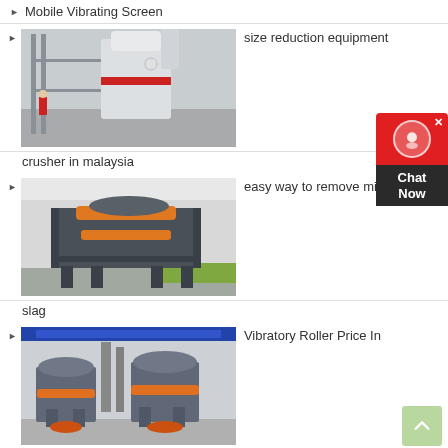Mobile Vibrating Screen
[Figure (photo): Industrial grinding mill / size reduction equipment in a factory setting]
size reduction equipment
crusher in malaysia
[Figure (photo): Large industrial crusher machine with orange ring in factory]
easy way to remove mill slag
[Figure (photo): Industrial cone crusher machines in manufacturing facility]
Vibratory Roller Price In